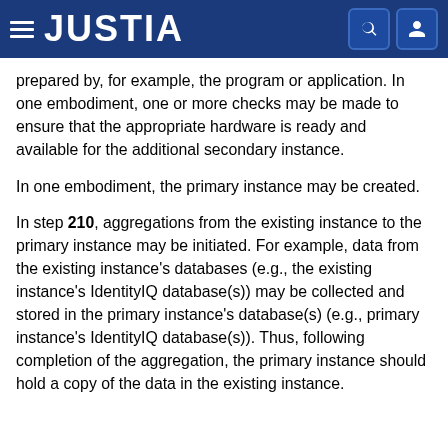JUSTIA
prepared by, for example, the program or application. In one embodiment, one or more checks may be made to ensure that the appropriate hardware is ready and available for the additional secondary instance.
In one embodiment, the primary instance may be created.
In step 210, aggregations from the existing instance to the primary instance may be initiated. For example, data from the existing instance's databases (e.g., the existing instance's IdentityIQ database(s)) may be collected and stored in the primary instance's database(s) (e.g., primary instance's IdentityIQ database(s)). Thus, following completion of the aggregation, the primary instance should hold a copy of the data in the existing instance.